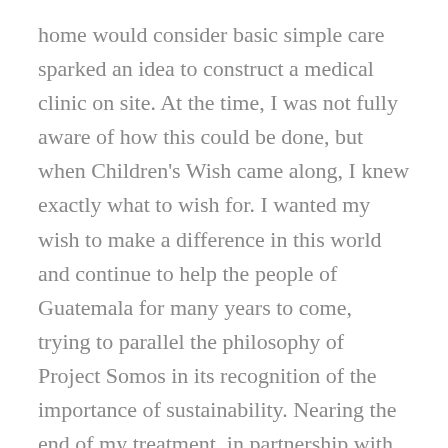home would consider basic simple care sparked an idea to construct a medical clinic on site. At the time, I was not fully aware of how this could be done, but when Children's Wish came along, I knew exactly what to wish for. I wanted my wish to make a difference in this world and continue to help the people of Guatemala for many years to come, trying to parallel the philosophy of Project Somos in its recognition of the importance of sustainability. Nearing the end of my treatment, in partnership with Children's wish, we were able to direct the initial funds for the medical clinic for Project Somos.
As you can imagine, the planning of a medical clinic and neighbourhood house on the Project Somos site has been challenging. We continue to fundraise to help